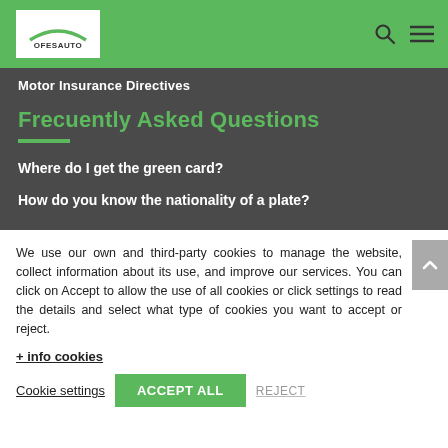OFESAUTO logo, search icon, menu icon
Motor Insurance Directives
Frecuently Asked Questions
Where do I get the green card?
How do you know the nationality of a plate?
We use our own and third-party cookies to manage the website, collect information about its use, and improve our services. You can click on Accept to allow the use of all cookies or click settings to read the details and select what type of cookies you want to accept or reject.
+ info cookies
Cookie settings   ACCEPT ALL   REJECT